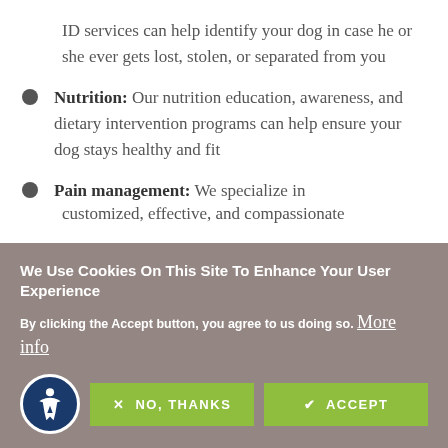ID services can help identify your dog in case he or she ever gets lost, stolen, or separated from you
Nutrition: Our nutrition education, awareness, and dietary intervention programs can help ensure your dog stays healthy and fit
Pain management: We specialize in customized, effective, and compassionate
We Use Cookies On This Site To Enhance Your User Experience
By clicking the Accept button, you agree to us doing so. More info